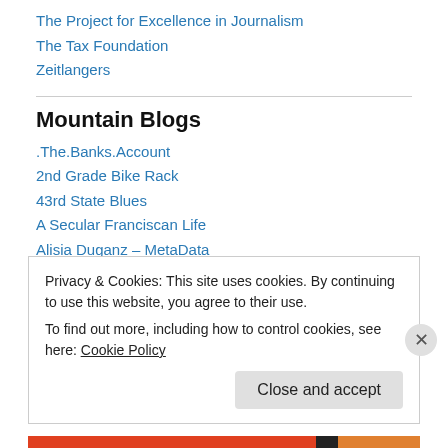The Project for Excellence in Journalism
The Tax Foundation
Zeitlangers
Mountain Blogs
.The.Banks.Account
2nd Grade Bike Rack
43rd State Blues
A Secular Franciscan Life
Alisia Duganz – MetaData
aloneinaforest presents
Privacy & Cookies: This site uses cookies. By continuing to use this website, you agree to their use. To find out more, including how to control cookies, see here: Cookie Policy
Close and accept